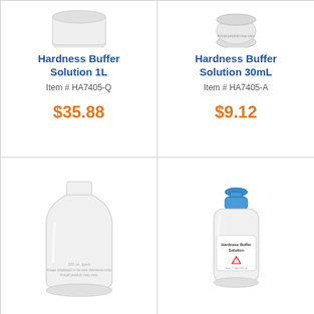[Figure (photo): Top portion of a white plastic bottle with no label visible, cropped at top]
Hardness Buffer Solution 1L
Item # HA7405-Q
$35.88
[Figure (photo): Top portion of a round white dropper/cap bottle, cropped at top, with text 'Actual product may vary.']
Hardness Buffer Solution 30mL
Item # HA7405-A
$9.12
[Figure (photo): A large white plastic 1L bottle with rounded shoulders, small text on bottle: '100 oz. (pint) Image displayed is for size reference only. Actual product may vary.']
[Figure (photo): A small white dropper bottle with blue cap, labeled 'Hardness Buffer Solution', with hazard symbols on the label]